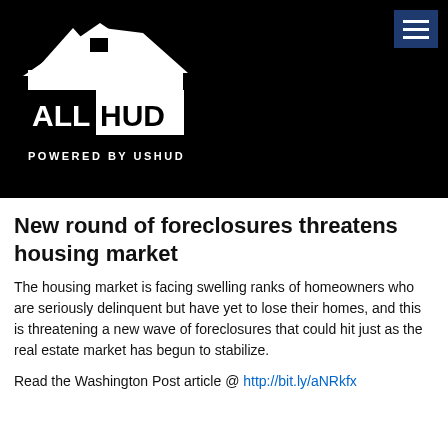[Figure (logo): ALL HUD - Powered by USHUD logo on black background with house/roof icon, with hamburger menu button in top right corner]
New round of foreclosures threatens housing market
The housing market is facing swelling ranks of homeowners who are seriously delinquent but have yet to lose their homes, and this is threatening a new wave of foreclosures that could hit just as the real estate market has begun to stabilize.
Read the Washington Post article @ http://bit.ly/aNRkfx